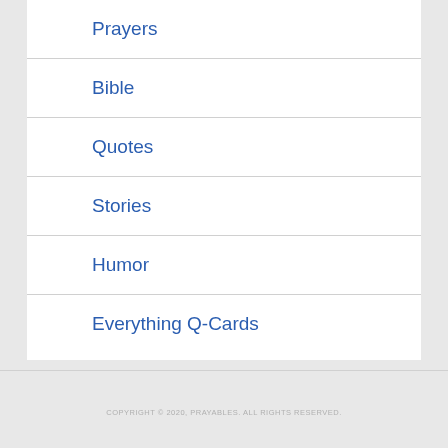Prayers
Bible
Quotes
Stories
Humor
Everything Q-Cards
COPYRIGHT © 2020, PRAYABLES. ALL RIGHTS RESERVED.